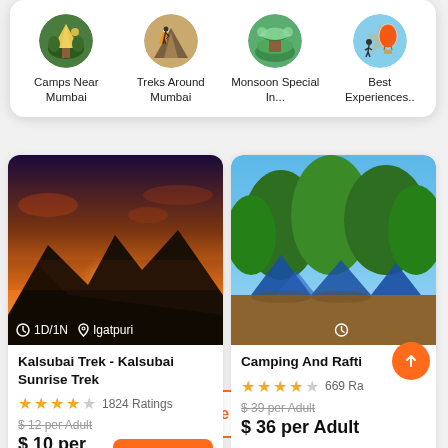[Figure (infographic): Category navigation row with 4 circular icon buttons: Camps Near Mumbai, Treks Around Mumbai, Monsoon Special In..., Best Experiences..]
[Figure (photo): Sunset mountain landscape photo for Kalsubai Trek, with overlay text: 1D/1N, Igatpuri]
Kalsubai Trek - Kalsubai Sunrise Trek
★★★★☆ 1824 Ratings
$ 12 per Adult (strikethrough)
$ 10 per Adult
Book Now
[Figure (photo): Camping tent photo with trees for Camping And Rafti..., with overlay text: 2D/1N, Kolad]
Camping And Rafti
★★★★☆ 669 Ra
$ 39 per Adult (strikethrough)
$ 36 per Adult
Explore All (9)